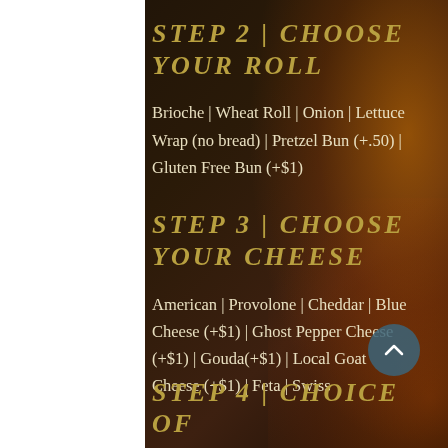STEP 2 | CHOOSE YOUR ROLL
Brioche | Wheat Roll | Onion | Lettuce Wrap (no bread) | Pretzel Bun (+.50) | Gluten Free Bun (+$1)
STEP 3 | CHOOSE YOUR CHEESE
American | Provolone | Cheddar | Blue Cheese (+$1) | Ghost Pepper Cheese (+$1) | Gouda(+$1) | Local Goat Cheese (+$1) | Feta | Swiss
STEP 4 | CHOICE OF